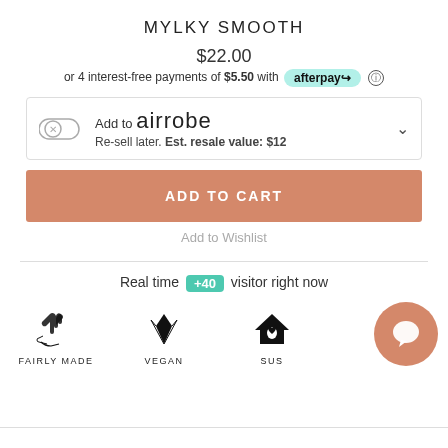MYLKY SMOOTH
$22.00
or 4 interest-free payments of $5.50 with afterpay ⓘ
Add to airrobe Re-sell later. Est. resale value: $12
ADD TO CART
Add to Wishlist
Real time +40 visitor right now
[Figure (infographic): Three brand badges: FAIRLY MADE (hands with heart icon), VEGAN (leaf icon), SUS... (house with leaf icon)]